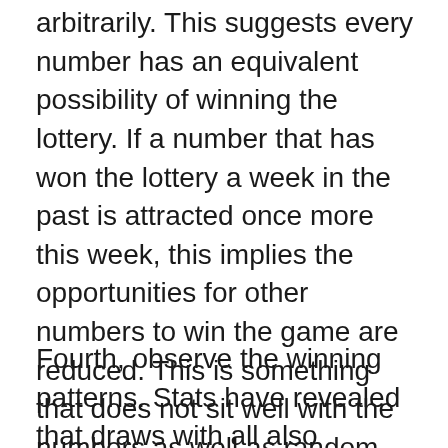arbitrarily. This suggests every number has an equivalent possibility of winning the lottery. If a number that has won the lottery a week in the past is attracted once more this week, this implies the opportunities for other numbers to win the game are reduced. This is something that does not sit well with the numbers as well as random theory. So, while it is still possible for the same winning number to look like champion once again, the opportunities are not as good as numbers that have actually not won the game before.
Fourth, observe the winning patterns. Stats have revealed that draws with all also numbers have a far better opportunity of winning the lotto game. If you intend to have